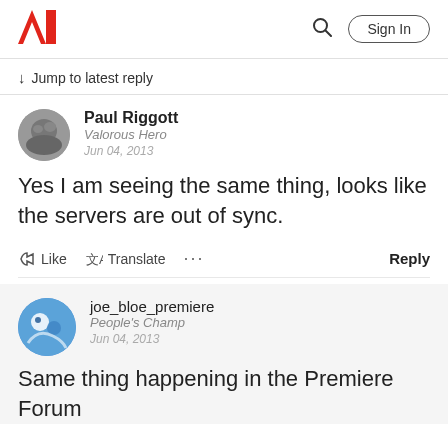Adobe logo | Search | Sign In
↓ Jump to latest reply
Paul Riggott
Valorous Hero
Jun 04, 2013
Yes I am seeing the same thing, looks like the servers are out of sync.
Like   Translate   ...   Reply
joe_bloe_premiere
People's Champ
Jun 04, 2013
Same thing happening in the Premiere Forum